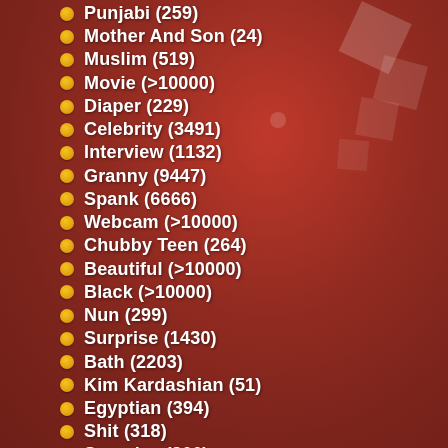Punjabi (259)
Mother And Son (24)
Muslim (519)
Movie (>10000)
Diaper (229)
Celebrity (3491)
Interview (1132)
Granny (9447)
Spank (6666)
Webcam (>10000)
Chubby Teen (264)
Beautiful (>10000)
Black (>10000)
Nun (299)
Surprise (1430)
Bath (2203)
Kim Kardashian (51)
Egyptian (394)
Shit (318)
Spandex (266)
Omegle (541)
Armpit (255)